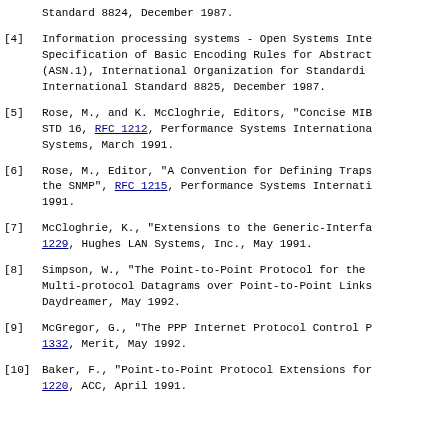Standard 8824, December 1987.
[4] Information processing systems - Open Systems Interconnection - Specification of Basic Encoding Rules for Abstract Syntax Notation (ASN.1), International Organization for Standardization, International Standard 8825, December 1987.
[5] Rose, M., and K. McCloghrie, Editors, "Concise MIB Definitions", STD 16, RFC 1212, Performance Systems International and Hughes LAN Systems, March 1991.
[6] Rose, M., Editor, "A Convention for Defining Traps for use with the SNMP", RFC 1215, Performance Systems International, March 1991.
[7] McCloghrie, K., "Extensions to the Generic-Interface MIB", RFC 1229, Hughes LAN Systems, Inc., May 1991.
[8] Simpson, W., "The Point-to-Point Protocol for the Transmission of Multi-protocol Datagrams over Point-to-Point Links", RFC 1331, Daydreamer, May 1992.
[9] McGregor, G., "The PPP Internet Protocol Control Protocol", RFC 1332, Merit, May 1992.
[10] Baker, F., "Point-to-Point Protocol Extensions for Bridging", RFC 1220, ACC, April 1991.